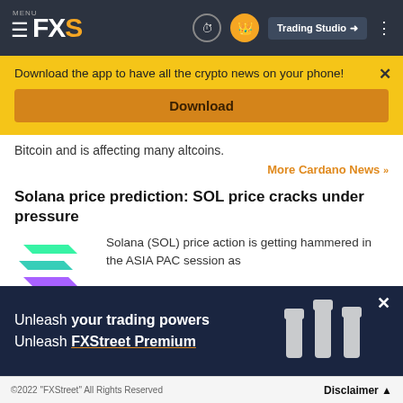MENU FXS | Trading Studio
Download the app to have all the crypto news on your phone!
Download
Bitcoin and is affecting many altcoins.
More Cardano News »
Solana price prediction: SOL price cracks under pressure
[Figure (logo): Solana SOL cryptocurrency logo - stylized angular shapes in teal and purple]
Solana (SOL) price action is getting hammered in the ASIA PAC session as
Unleash your trading powers Unleash FXStreet Premium
©2022 "FXStreet" All Rights Reserved | Disclaimer